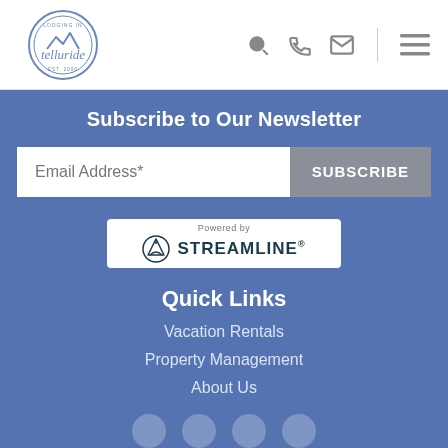Lodging in Telluride - navigation header with logo and icons
Subscribe to Our Newsletter
Email Address*
SUBSCRIBE
[Figure (logo): Powered by STREAMLINE logo in white box]
Quick Links
Vacation Rentals
Property Management
About Us